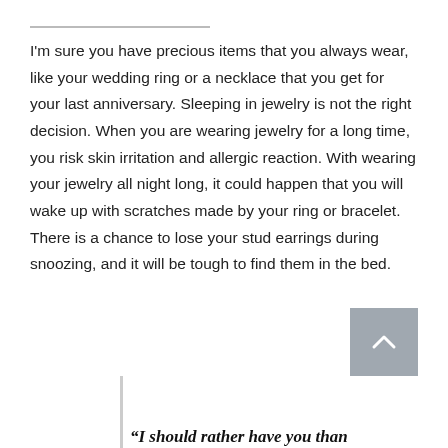I'm sure you have precious items that you always wear, like your wedding ring or a necklace that you get for your last anniversary. Sleeping in jewelry is not the right decision. When you are wearing jewelry for a long time, you risk skin irritation and allergic reaction. With wearing your jewelry all night long, it could happen that you will wake up with scratches made by your ring or bracelet. There is a chance to lose your stud earrings during snoozing, and it will be tough to find them in the bed.
“I should rather have you than